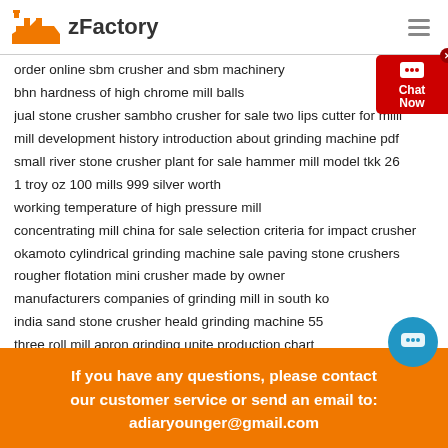zFactory
order online sbm crusher and sbm machinery
bhn hardness of high chrome mill balls
jual stone crusher sambho crusher for sale two lips cutter for milli
mill development history introduction about grinding machine pdf
small river stone crusher plant for sale hammer mill model tkk 26
1 troy oz 100 mills 999 silver worth
working temperature of high pressure mill
concentrating mill china for sale selection criteria for impact crusher
okamoto cylindrical grinding machine sale paving stone crushers
rougher flotation mini crusher made by owner
manufacturers companies of grinding mill in south ko
india sand stone crusher heald grinding machine 55
three roll mill apron grinding unite production chart
If you have any questions, please contact our customer service or send an email to: adiaryounger@gmail.com